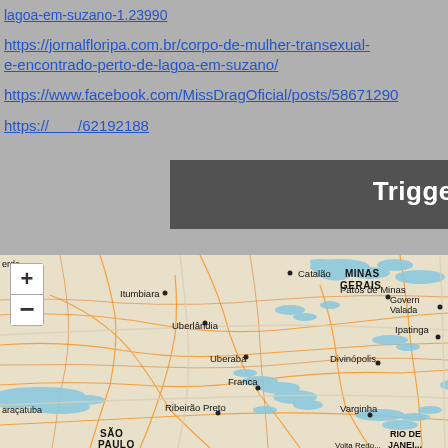lagoa-em-suzano-1.23990
https://jornalfloripa.com.br/corpo-de-mulher-transexual-e-encontrado-perto-de-lagoa-em-suzano/
https://www.facebook.com/MissDragOficial/posts/58671290...
https://... /621921...
Trigger warning
[Figure (map): Map of central Brazil showing Minas Gerais state and surrounding region, with cities including Catalão, Itumbiara, Uberlândia, Uberaba, Franca, Ribeirão Preto, Patos de Minas, Divinópolis, Varginha, Ipatinga, Governador Valadares, and partial labels for São Paulo and Rio de Janeiro. Blue water bodies (reservoirs/rivers) visible throughout. Map control buttons (+/-) visible in upper left.]